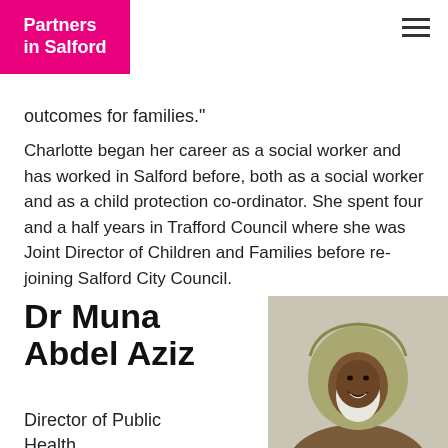Partners in Salford
outcomes for families."
Charlotte began her career as a social worker and has worked in Salford before, both as a social worker and as a child protection co-ordinator. She spent four and a half years in Trafford Council where she was Joint Director of Children and Families before re-joining Salford City Council.
Dr Muna Abdel Aziz
Director of Public Health
[Figure (photo): Headshot photo of Dr Muna Abdel Aziz, a woman wearing a hijab, smiling]